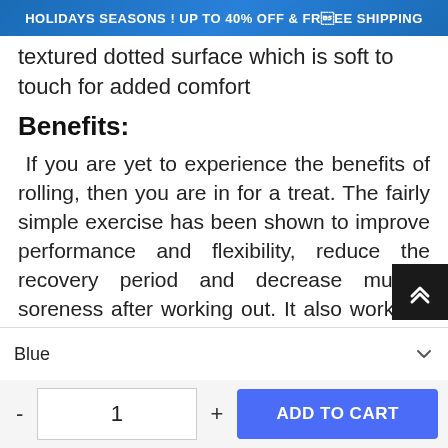HOLIDAYS SEASONS ! UP TO 40% OFF & FREE SHIPPING
textured dotted surface which is soft to touch for added comfort
Benefits:
If you are yet to experience the benefits of rolling, then you are in for a treat. The fairly simple exercise has been shown to improve performance and flexibility, reduce the recovery period and decrease muscle soreness after working out. It also works to boost circulation, strengthen and tone the skin and iron out all the knots in your muscles. It is the perfect partner for an intense exercise regime